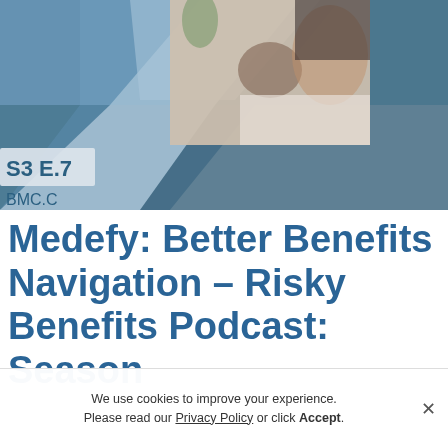[Figure (illustration): Top section with geometric diamond/chevron shapes in steel blue and teal tones, with a photo of a smiling woman holding a pug dog. Text overlaid shows 'S3 E.7' and 'BMC.C...' on a lighter geometric panel.]
Medefy: Better Benefits Navigation – Risky Benefits Podcast: Season
We use cookies to improve your experience. Please read our Privacy Policy or click Accept.